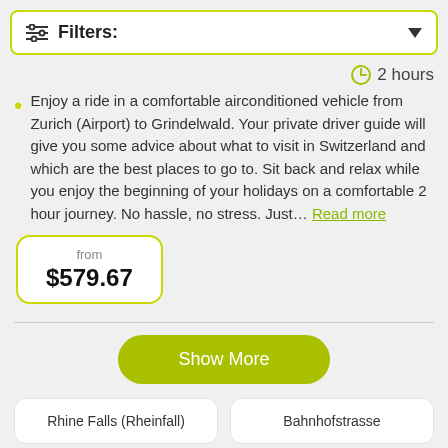Filters:
2 hours
Enjoy a ride in a comfortable airconditioned vehicle from Zurich (Airport) to Grindelwald. Your private driver guide will give you some advice about what to visit in Switzerland and which are the best places to go to. Sit back and relax while you enjoy the beginning of your holidays on a comfortable 2 hour journey. No hassle, no stress. Just... Read more
from $579.67
Show More
Rhine Falls (Rheinfall)
Bahnhofstrasse